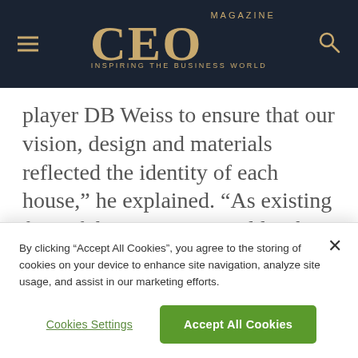CEO MAGAZINE — INSPIRING THE BUSINESS WORLD
player DB Weiss to ensure that our vision, design and materials reflected the identity of each house,” he explained. “As existing fans of the series, we couldn’t be happier with the final results and this partnership overall.”
From US$24,550
By clicking “Accept All Cookies”, you agree to the storing of cookies on your device to enhance site navigation, analyze site usage, and assist in our marketing efforts.
Cookies Settings
Accept All Cookies